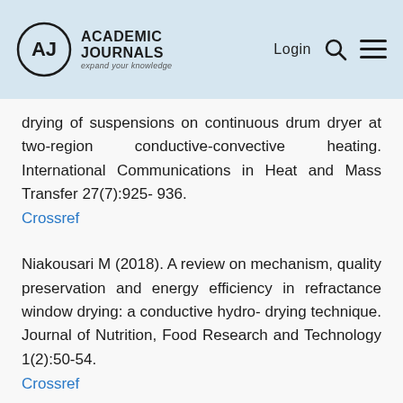ACADEMIC JOURNALS expand your knowledge | Login
drying of suspensions on continuous drum dryer at two-region conductive-convective heating. International Communications in Heat and Mass Transfer 27(7):925- 936.
Crossref
Niakousari M (2018). A review on mechanism, quality preservation and energy efficiency in refractance window drying: a conductive hydro- drying technique. Journal of Nutrition, Food Research and Technology 1(2):50-54.
Crossref